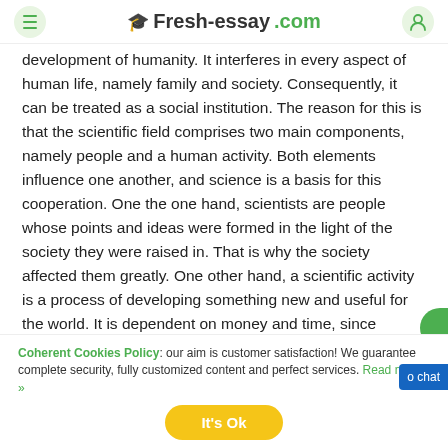Fresh-essay.com
development of humanity. It interferes in every aspect of human life, namely family and society. Consequently, it can be treated as a social institution. The reason for this is that the scientific field comprises two main components, namely people and a human activity. Both elements influence one another, and science is a basis for this cooperation. One the one hand, scientists are people whose points and ideas were formed in the light of the society they were raised in. That is why the society affected them greatly. One other hand, a scientific activity is a process of developing something new and useful for the world. It is dependent on money and time, since scientists earn money for their living with the help of science. Thus, one may admit that
Coherent Cookies Policy: our aim is customer satisfaction! We guarantee complete security, fully customized content and perfect services. Read more »